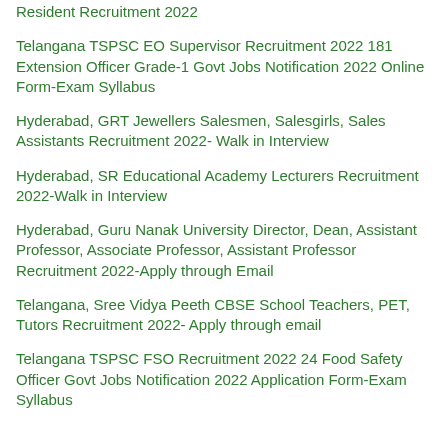Resident Recruitment 2022
Telangana TSPSC EO Supervisor Recruitment 2022 181 Extension Officer Grade-1 Govt Jobs Notification 2022 Online Form-Exam Syllabus
Hyderabad, GRT Jewellers Salesmen, Salesgirls, Sales Assistants Recruitment 2022- Walk in Interview
Hyderabad, SR Educational Academy Lecturers Recruitment 2022-Walk in Interview
Hyderabad, Guru Nanak University Director, Dean, Assistant Professor, Associate Professor, Assistant Professor Recruitment 2022-Apply through Email
Telangana, Sree Vidya Peeth CBSE School Teachers, PET, Tutors Recruitment 2022- Apply through email
Telangana TSPSC FSO Recruitment 2022 24 Food Safety Officer Govt Jobs Notification 2022 Application Form-Exam Syllabus